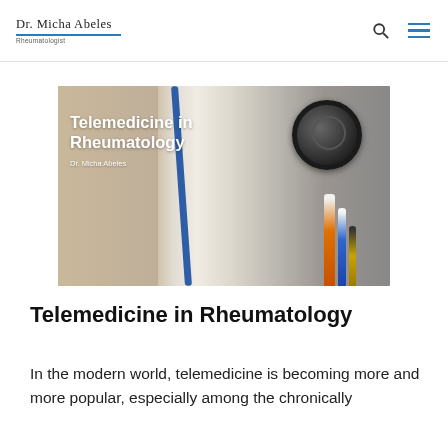Dr. Micha Abeles — Rheumatologist
[Figure (photo): Photo of a doctor's white coat with a stethoscope and medical tools in the pocket, overlaid with the text 'Telemedicine in Rheumatology' and 'Dr. Micha Abeles']
Telemedicine in Rheumatology
In the modern world, telemedicine is becoming more and more popular, especially among the chronically